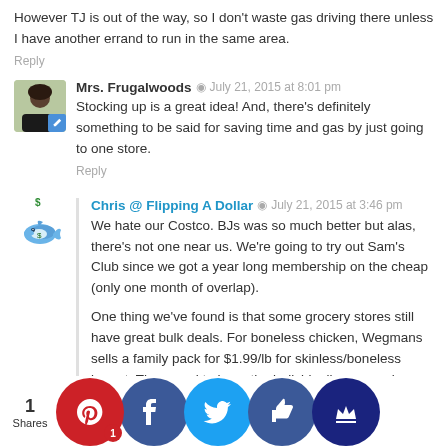However TJ is out of the way, so I don't waste gas driving there unless I have another errand to run in the same area.
Reply
Mrs. Frugalwoods · July 21, 2015 at 8:01 pm
Stocking up is a great idea! And, there's definitely something to be said for saving time and gas by just going to one store.
Reply
Chris @ Flipping A Dollar · July 21, 2015 at 3:46 pm
We hate our Costco. BJs was so much better but alas, there's not one near us. We're going to try out Sam's Club since we got a year long membership on the cheap (only one month of overlap).
One thing we've found is that some grocery stores still have great bulk deals. For boneless chicken, Wegmans sells a family pack for $1.99/lb for skinless/boneless breast. They used to have the individually wrapped ones for this price (same as the n... pped o... !) but th... ed up a... rge $1... f... Ve do... with th... man, i... est pri...